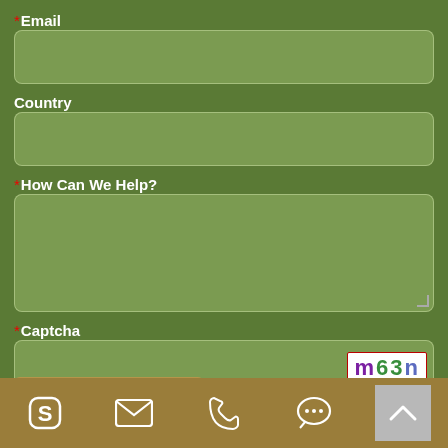*Email
[Figure (screenshot): Email input field (empty, rounded rectangle, semi-transparent green)]
Country
[Figure (screenshot): Country input field (empty, rounded rectangle, semi-transparent green)]
*How Can We Help?
[Figure (screenshot): How Can We Help textarea (empty, rounded rectangle, semi-transparent green, resize handle)]
*Captcha
[Figure (screenshot): Captcha input field with captcha image showing 'm63n' in colored letters]
[Figure (screenshot): Bottom navigation bar with Skype, email, phone, chat, and up-chevron icons on a gold/tan background]